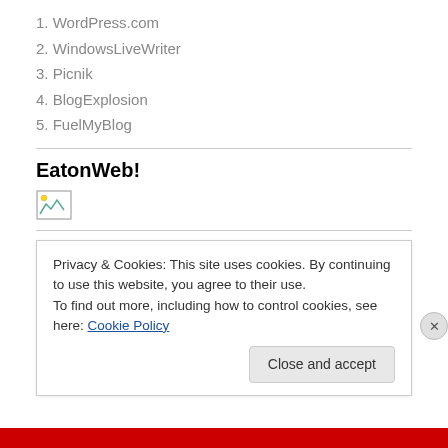1. WordPress.com
2. WindowsLiveWriter
3. Picnik
4. BlogExplosion
5. FuelMyBlog
EatonWeb!
[Figure (other): Broken/missing image placeholder]
BlogBackUpr might save my butt!
Privacy & Cookies: This site uses cookies. By continuing to use this website, you agree to their use.
To find out more, including how to control cookies, see here: Cookie Policy